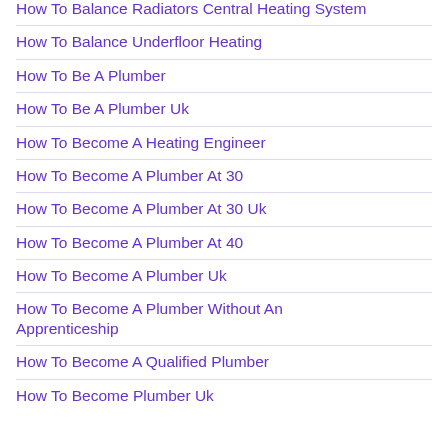How To Balance Radiators Central Heating System
How To Balance Underfloor Heating
How To Be A Plumber
How To Be A Plumber Uk
How To Become A Heating Engineer
How To Become A Plumber At 30
How To Become A Plumber At 30 Uk
How To Become A Plumber At 40
How To Become A Plumber Uk
How To Become A Plumber Without An Apprenticeship
How To Become A Qualified Plumber
How To Become Plumber Uk